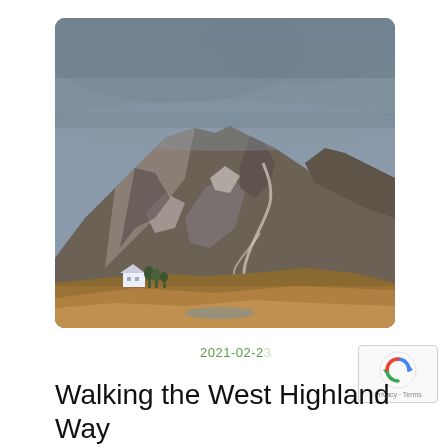[Figure (photo): Landscape photograph of a large Scottish mountain with rocky slopes, patches of brown moorland, a winding path up the hillside, a small white cottage and trees at the base, under a dramatic overcast grey sky. Scene typical of the Scottish Highlands along the West Highland Way.]
2021-02-2
Walking the West Highland Way